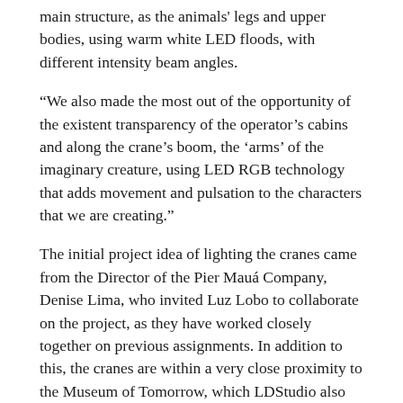main structure, as the animals' legs and upper bodies, using warm white LED floods, with different intensity beam angles.
“We also made the most out of the opportunity of the existent transparency of the operator’s cabins and along the crane’s boom, the ‘arms’ of the imaginary creature, using LED RGB technology that adds movement and pulsation to the characters that we are creating.”
The initial project idea of lighting the cranes came from the Director of the Pier Mauá Company, Denise Lima, who invited Luz Lobo to collaborate on the project, as they have worked closely together on previous assignments. In addition to this, the cranes are within a very close proximity to the Museum of Tomorrow, which LDStudio also completed the lighting design for in previous years.
In this years darc awards / architectural, the Pier Mauá Cranes team received high praise for their work, winning in the Structures / low category as well as the ‘best of the best’ award. In this uniquely voted peer-to-peer competition, it is a great chance for designers to be recognised within their own industry and many find it highly